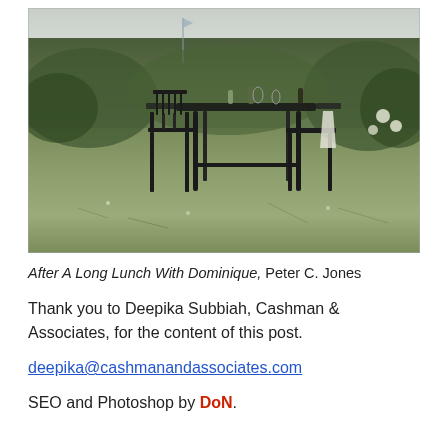[Figure (photo): Outdoor photograph of a wooden table with chairs set in a grassy field, with bushes and shrubs in the background. Items on the table include glasses and bottles. A white napkin hangs from a chair. Photo by Peter C. Jones.]
After A Long Lunch With Dominique, Peter C. Jones
Thank you to Deepika Subbiah, Cashman & Associates, for the content of this post.
deepika@cashmanandassociates.com
SEO and Photoshop by DoN.